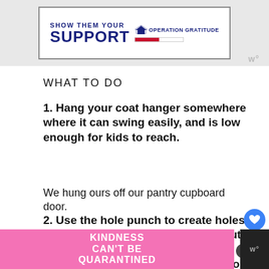[Figure (other): Advertisement banner: SHOW THEM YOUR SUPPORT - OPERATION GRATITUDE with logo]
WHAT TO DO
1. Hang your coat hanger somewhere where it can swing easily, and is low enough for kids to reach.
We hung ours off our pantry cupboard door.
2. Use the hole punch to create holes on either side of the paper cups. Cut two equal lengths of twine, and tie onto the paper cup to turn them into two little buckets.
[Figure (other): Bottom advertisement: KINDNESS CAN'T BE QUARANTINED on pink background]